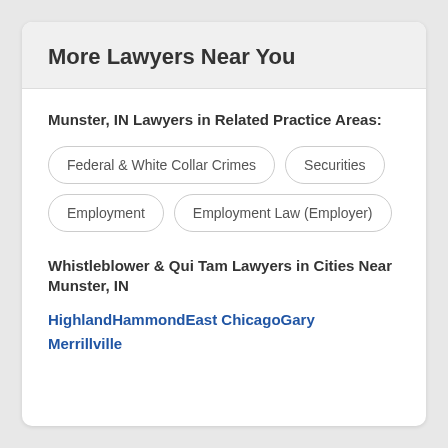More Lawyers Near You
Munster, IN Lawyers in Related Practice Areas:
Federal & White Collar Crimes
Securities
Employment
Employment Law (Employer)
Whistleblower & Qui Tam Lawyers in Cities Near Munster, IN
Highland
Hammond
East Chicago
Gary
Merrillville